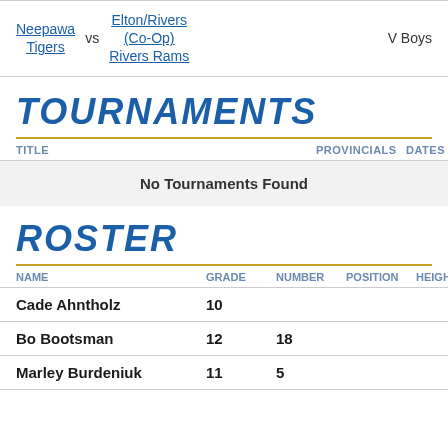Neepawa Tigers vs Elton/Rivers (Co-Op) Rivers Rams — V Boys
TOURNAMENTS
| TITLE | PROVINCIALS | DATES |
| --- | --- | --- |
| No Tournaments Found |  |  |
ROSTER
| NAME | GRADE | NUMBER | POSITION | HEIGHT |
| --- | --- | --- | --- | --- |
| Cade Ahntholz | 10 |  |  |  |
| Bo Bootsman | 12 | 18 |  |  |
| Marley Burdeniuk | 11 | 5 |  |  |